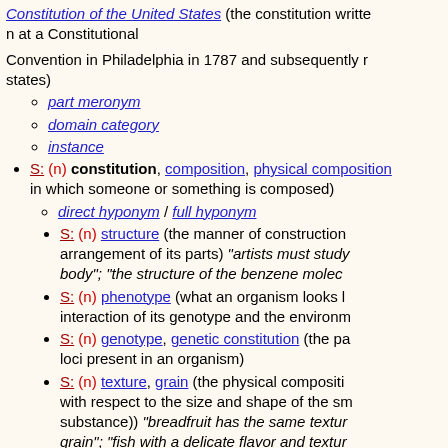Constitution of the United States (the constitution written at a Constitutional Convention in Philadelphia in 1787 and subsequently ratified by the states)
part meronym
domain category
instance
S: (n) constitution, composition, physical composition (the way in which someone or something is composed)
direct hyponym / full hyponym
S: (n) structure (the manner of construction of something and the arrangement of its parts) "artists must study the structure of the body"; "the structure of the benzene molecule"
S: (n) phenotype (what an organism looks like as a consequence of the interaction of its genotype and the environment)
S: (n) genotype, genetic constitution (the particular alleles at specified loci present in an organism)
S: (n) texture, grain (the physical composition of something with respect to the size and shape of the small constituents of a substance)) "breadfruit has the same texture as bread"; "fish with a delicate flavor and texture"
S: (n) karyotype (the appearance of the chromosomes in a somatic cell in an individual or species (including the number and arrangement and size and structure of the chromosomes))
direct hypernym / inherited hypernym / sister term
derivationally related form